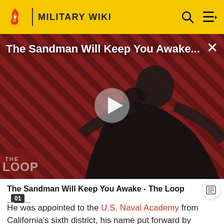MILITARY WIKI
[Figure (screenshot): Video thumbnail for 'The Sandman Will Keep You Awake...' showing a dark-cloaked figure against a red diagonal striped background with 'THE LOOP' logo overlaid and a play button in the center.]
The Sandman Will Keep You Awake - The Loop
He was appointed to the U.S. Naval Academy from California's sixth district, his name put forward by Congressman Zenas Spear Needham in 1864. He...